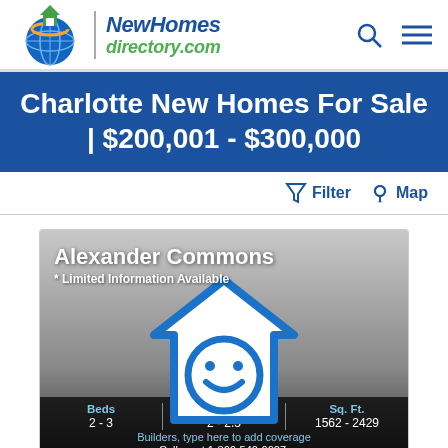[Figure (logo): NewHomesDirectory.com logo with globe icon]
Charlotte New Homes For Sale | $200,001 - $300,000
Filter   Map
[Figure (illustration): Alexander Commons listing card with smiley house icon, * Limited Information Available, Beds 2-3, Baths 2-2.5, Sq. Ft. 1562-2429, Builders, Call us at 1-866-540-6607]
Monroe, NC 28112